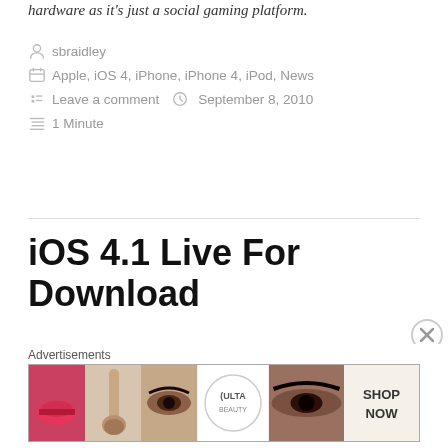hardware as it's just a social gaming platform.
sbraidley
Apple, iOS 4, iPhone, iPhone 4, iPod, News
Leave a comment   September 8, 2010
1 Minute
iOS 4.1 Live For Download
Apple has pushed out the iOS 4.1 update as promised, if your running a iPhone 3G, iPhone 3GS, iPhone 4, iPod
[Figure (photo): Ulta Beauty advertisement banner with makeup imagery and 'SHOP NOW' text]
Advertisements